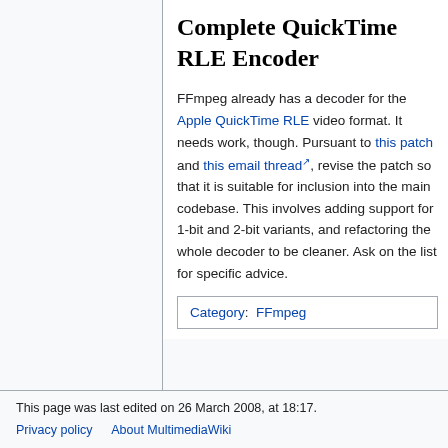Complete QuickTime RLE Encoder
FFmpeg already has a decoder for the Apple QuickTime RLE video format. It needs work, though. Pursuant to this patch and this email thread, revise the patch so that it is suitable for inclusion into the main codebase. This involves adding support for 1-bit and 2-bit variants, and refactoring the whole decoder to be cleaner. Ask on the list for specific advice.
Category: FFmpeg
This page was last edited on 26 March 2008, at 18:17.
Privacy policy   About MultimediaWiki